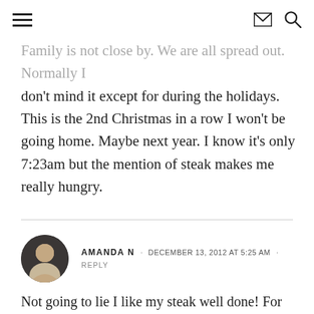[hamburger menu] [envelope icon] [search icon]
Family is not close by. We are all spread out. Normally I don't mind it except for during the holidays. This is the 2nd Christmas in a row I won't be going home. Maybe next year. I know it's only 7:23am but the mention of steak makes me really hungry.
AMANDA N · DECEMBER 13, 2012 AT 5:25 AM · REPLY
Not going to lie I like my steak well done! For our wedding meals we had combo platters of filet mignon and chicken something. I had the coordinator